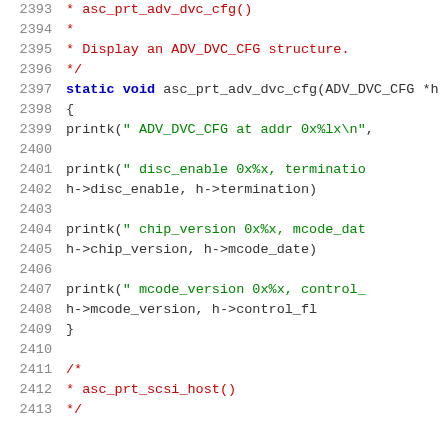Source code listing, lines 2393-2413, showing asc_prt_adv_dvc_cfg() function definition and comment block for asc_prt_scsi_host()